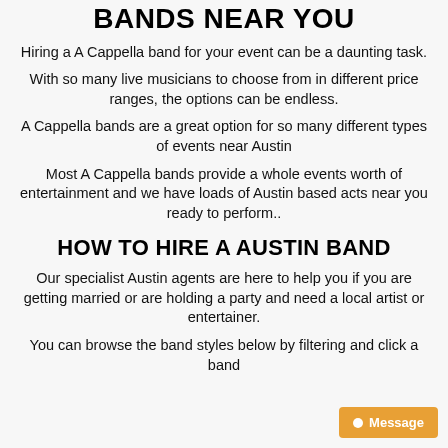BANDS NEAR YOU
Hiring a A Cappella band for your event can be a daunting task.
With so many live musicians to choose from in different price ranges, the options can be endless.
A Cappella bands are a great option for so many different types of events near Austin
Most A Cappella bands provide a whole events worth of entertainment and we have loads of Austin based acts near you ready to perform..
HOW TO HIRE A AUSTIN BAND
Our specialist Austin agents are here to help you if you are getting married or are holding a party and need a local artist or entertainer.
You can browse the band styles below by filtering and click a band